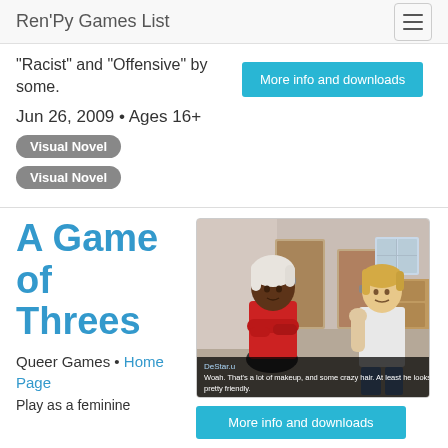Ren'Py Games List
"Racist" and "Offensive" by some.
Jun 26, 2009 • Ages 16+
Visual Novel
Visual Novel
A Game of Threes
Queer Games • Home Page
Play as a feminine
[Figure (screenshot): Visual novel screenshot showing two characters in a hallway/apartment interior. Character on left has white hair and red jacket with arms crossed. Character on right is blonde. Dialogue text reads: DeStar.u: Woah. That's a lot of makeup, and some crazy hair. At least he looks pretty friendly.]